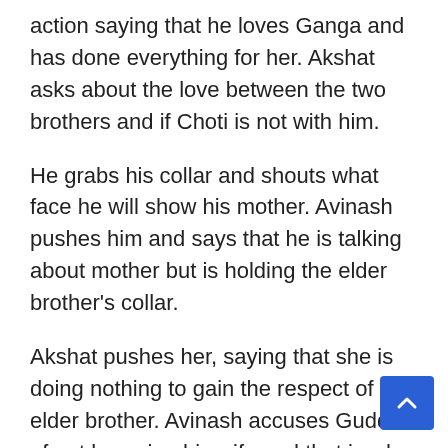action saying that he loves Ganga and has done everything for her. Akshat asks about the love between the two brothers and if Choti is not with him.
He grabs his collar and shouts what face he will show his mother. Avinash pushes him and says that he is talking about mother but is holding the elder brother's collar.
Akshat pushes her, saying that she is doing nothing to gain the respect of an elder brother. Avinash accuses Guddan of not honoring his wife and that is why it is happening.
He says that as Diljit made him realize that he cannot lose Ganga and now he will avenge every slap on Choti…